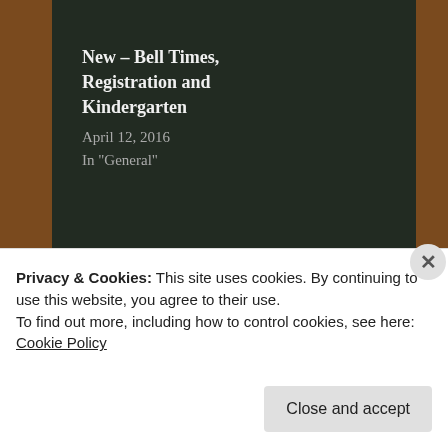New – Bell Times, Registration and Kindergarten
April 12, 2016
In "General"
Posted on September 1, 2016 by New Brighton Elementary Parent's Association · This entry was posted in General. Bookmark the permalink.
[Figure (illustration): Chalk eraser smear line on chalkboard]
Privacy & Cookies: This site uses cookies. By continuing to use this website, you agree to their use.
To find out more, including how to control cookies, see here: Cookie Policy
Close and accept